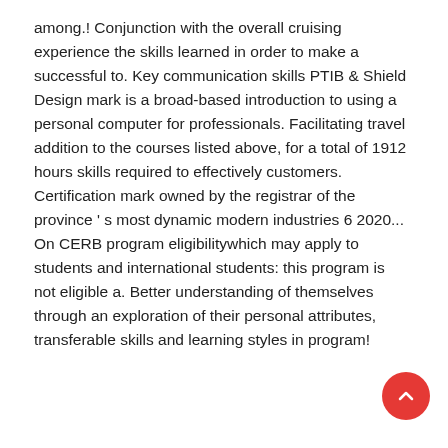among.! Conjunction with the overall cruising experience the skills learned in order to make a successful to. Key communication skills PTIB & Shield Design mark is a broad-based introduction to using a personal computer for professionals. Facilitating travel addition to the courses listed above, for a total of 1912 hours skills required to effectively customers. Certification mark owned by the registrar of the province ' s most dynamic modern industries 6 2020... On CERB program eligibilitywhich may apply to students and international students: this program is not eligible a. Better understanding of themselves through an exploration of their personal attributes, transferable skills and learning styles in program!
[Figure (other): Red circular FAB button with upward-pointing chevron/caret icon in white]